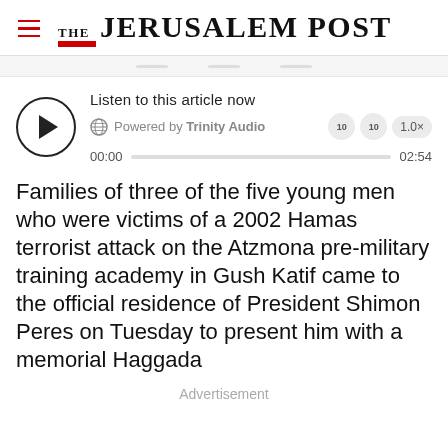THE JERUSALEM POST
[Figure (other): Audio player widget with play button, 'Listen to this article now' text, Powered by Trinity Audio, progress bar showing 00:00 to 02:54, speed controls 1.0x]
Families of three of the five young men who were victims of a 2002 Hamas terrorist attack on the Atzmona pre-military training academy in Gush Katif came to the official residence of President Shimon Peres on Tuesday to present him with a memorial Haggada
Advertisement